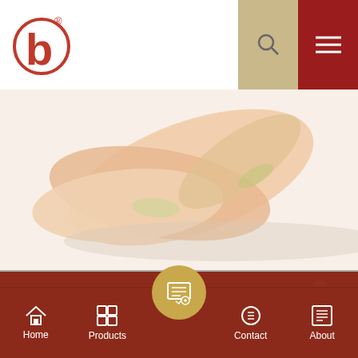[Figure (logo): Company logo: red circular 'b' icon with registered trademark symbol]
[Figure (illustration): Decorative hero image of peach/cream colored flower petals on white background]
Email : 359373150@qq.com
Skype : S.E.Z. Baojie
Tel : 008613501408869
Whatsapp : 008613822888690
Home | Products | Contact | About